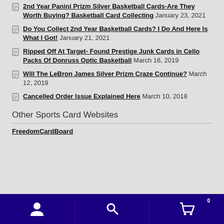2nd Year Panini Prizm Silver Basketball Cards-Are They Worth Buying? Basketball Card Collecting January 23, 2021
Do You Collect 2nd Year Basketball Cards? I Do And Here Is What I Got! January 21, 2021
Ripped Off At Target- Found Prestige Junk Cards in Cello Packs Of Donruss Optic Basketball March 16, 2019
Will The LeBron James Silver Prizm Craze Continue? March 12, 2019
Cancelled Order Issue Explained Here March 10, 2018
Other Sports Card Websites
FreedomCardBoard